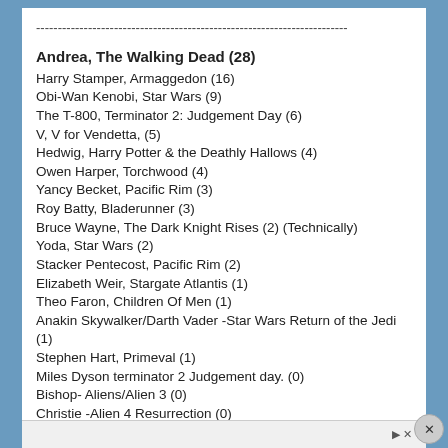------------------------------------------------------------------------
Andrea, The Walking Dead (28)
Harry Stamper, Armaggedon (16)
Obi-Wan Kenobi, Star Wars (9)
The T-800, Terminator 2: Judgement Day (6)
V, V for Vendetta, (5)
Hedwig, Harry Potter & the Deathly Hallows (4)
Owen Harper, Torchwood (4)
Yancy Becket, Pacific Rim (3)
Roy Batty, Bladerunner (3)
Bruce Wayne, The Dark Knight Rises (2) (Technically)
Yoda, Star Wars (2)
Stacker Pentecost, Pacific Rim (2)
Elizabeth Weir, Stargate Atlantis (1)
Theo Faron, Children Of Men (1)
Anakin Skywalker/Darth Vader -Star Wars Return of the Jedi (1)
Stephen Hart, Primeval (1)
Miles Dyson terminator 2 Judgement day. (0)
Bishop- Aliens/Alien 3 (0)
Christie -Alien 4 Resurrection (0)
Lieutenant "Doc" Ostrow - The Forbidden Planet (0)
Harry Osborn - Spiderman 3 (0)
Harry Bore, Spiderman (0)